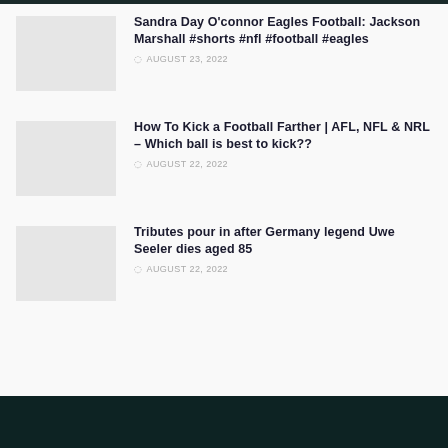Sandra Day O'connor Eagles Football: Jackson Marshall #shorts #nfl #football #eagles — AUGUST 23, 2022
How To Kick a Football Farther | AFL, NFL & NRL – Which ball is best to kick?? — AUGUST 22, 2022
Tributes pour in after Germany legend Uwe Seeler dies aged 85 — AUGUST 22, 2022